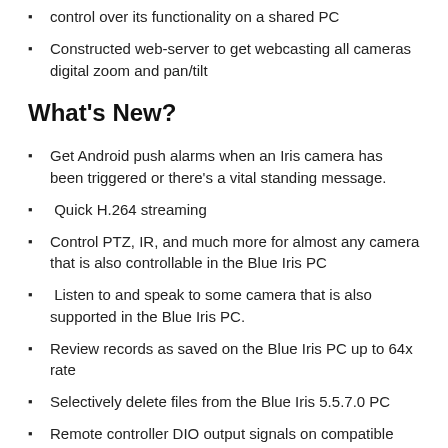control over its functionality on a shared PC
Constructed web-server to get webcasting all cameras digital zoom and pan/tilt
What's New?
Get Android push alarms when an Iris camera has been triggered or there's a vital standing message.
Quick H.264 streaming
Control PTZ, IR, and much more for almost any camera that is also controllable in the Blue Iris PC
Listen to and speak to some camera that is also supported in the Blue Iris PC.
Review records as saved on the Blue Iris PC up to 64x rate
Selectively delete files from the Blue Iris 5.5.7.0 PC
Remote controller DIO output signals on compatible devices